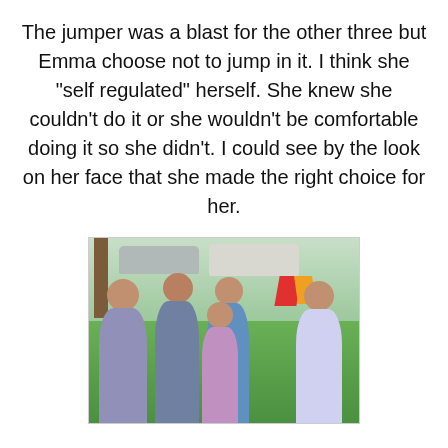The jumper was a blast for the other three but Emma choose not to jump in it. I think she "self regulated" herself. She knew she couldn't do it or she wouldn't be comfortable doing it so she didn't. I could see by the look on her face that she made the right choice for her.
[Figure (photo): Outdoor group photo of four young girls standing together near a tree. A car is visible in the background along with green grass and trees. One girl has face paint. Colorful decoration visible in background.]